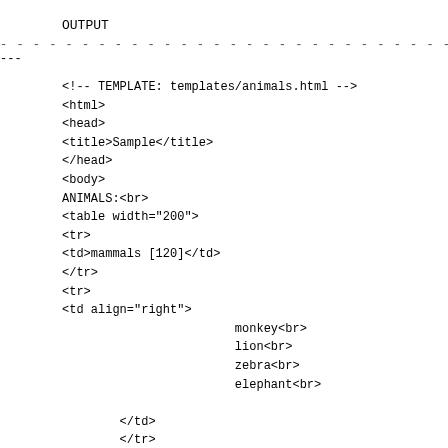OUTPUT
---
<!-- TEMPLATE: templates/animals.html -->
<html>
<head>
<title>Sample</title>
</head>
<body>
ANIMALS:<br>
<table width="200">
<tr>
<td>mammals [120]</td>
</tr>
<tr>
<td align="right">
                        monkey<br>
                        lion<br>
                        zebra<br>
                        elephant<br>
</td>
</tr>
<tr>
<td>fish [85]</td>
</tr>
<tr>
<td align="right">
                        swordfish<br>
                        shark<br>